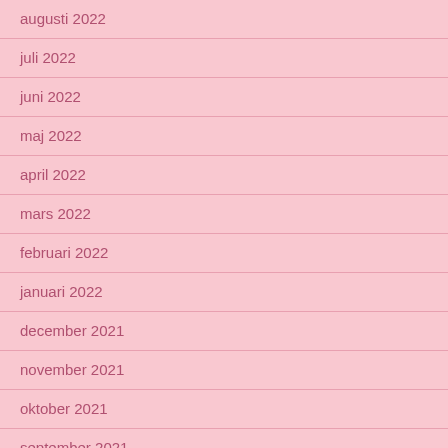augusti 2022
juli 2022
juni 2022
maj 2022
april 2022
mars 2022
februari 2022
januari 2022
december 2021
november 2021
oktober 2021
september 2021
augusti 2021
juli 2021
juni 2021